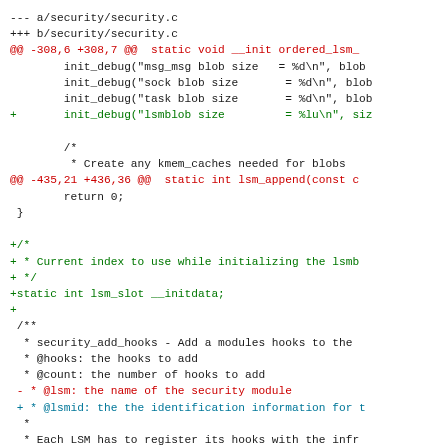[Figure (screenshot): A git diff view of security/security.c showing removed and added lines in a code patch. Lines prefixed with --- and +++ show file paths, @@ lines show hunk headers, red lines show removed code, green lines show added code, and cyan lines show added comment lines.]